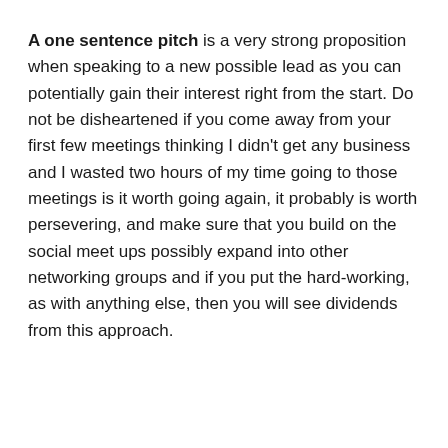A one sentence pitch is a very strong proposition when speaking to a new possible lead as you can potentially gain their interest right from the start. Do not be disheartened if you come away from your first few meetings thinking I didn't get any business and I wasted two hours of my time going to those meetings is it worth going again, it probably is worth persevering, and make sure that you build on the social meet ups possibly expand into other networking groups and if you put the hard-working, as with anything else, then you will see dividends from this approach.